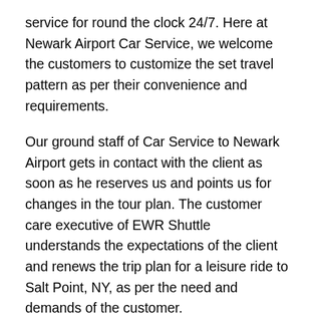service for round the clock 24/7. Here at Newark Airport Car Service, we welcome the customers to customize the set travel pattern as per their convenience and requirements.
Our ground staff of Car Service to Newark Airport gets in contact with the client as soon as he reserves us and points us for changes in the tour plan. The customer care executive of EWR Shuttle understands the expectations of the client and renews the trip plan for a leisure ride to Salt Point, NY, as per the need and demands of the customer.
We have years of experience in providing perfect car rental services to our clients in Salt Point, NY and nearby states. The Newark Airport Car Service